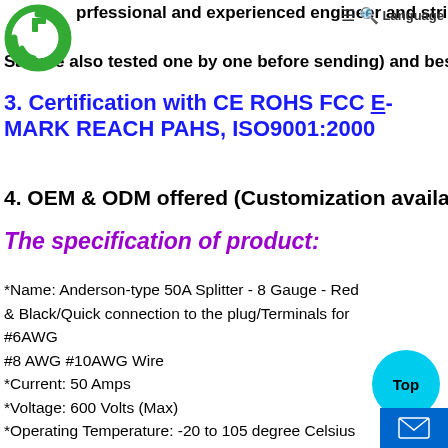professional and experienced engineer and strict QA and Q... Sample also tested one by one before sending) and best pr...
3. Certification with CE ROHS FCC E-MARK REACH PAHS, ISO9001:2000
4. OEM & ODM offered (Customization available, you ca...
The specification of product:
*Name: Anderson-type 50A Splitter - 8 Gauge - Red & Black/Quick connection to the plug/Terminals for #6AWG
#8 AWG #10AWG Wire
*Current: 50 Amps
*Voltage: 600 Volts (Max)
*Operating Temperature: -20 to 105 degree Celsius
*Housing Gender:
Genderless (housing can all connect to each other as long as t...